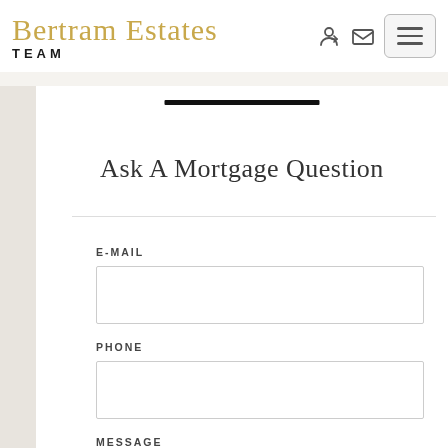[Figure (logo): Bertram Estates Team logo with gold script text and bold TEAM text below]
Ask A Mortgage Question
E-MAIL
PHONE
MESSAGE